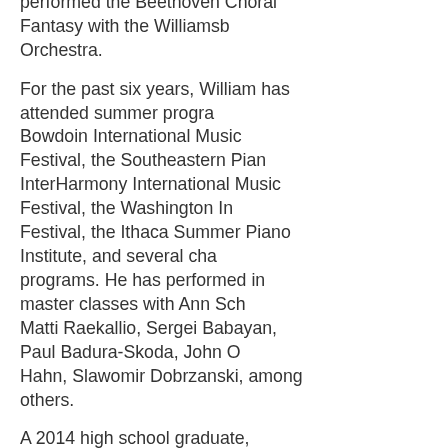performed the Beethoven Choral Fantasy with the Williamsburg Orchestra.
For the past six years, William has attended summer programs at the Bowdoin International Music Festival, the Southeastern Piano Festival, InterHarmony International Music Festival, the Washington International Festival, the Ithaca Summer Piano Institute, and several chamber music programs. He has performed in master classes with Ann Schein, Matti Raekallio, Sergei Babayan, Paul Badura-Skoda, John O'Conor, Hilary Hahn, Slawomir Dobrzanski, among others.
A 2014 high school graduate, William was a member of The National Honor Society and earned a varsity letter in cross country. He also earned a Gold Award in the Scholastic Art and Writing Contest. Additionally, he has performed at local nursing homes, the Salvation Army and for military funerals.
William is a student of Dr. Jennifer Blyth of Dickinson College. He will attend the Aspen Music Festival and School this summer and will begin his studies at the Eastman School of Music in the fall as a piano performance major.
Visit him at www.williamhume.com
Watch more performances of William Hume